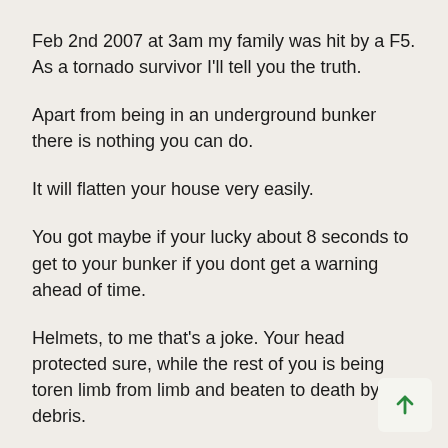Feb 2nd 2007 at 3am my family was hit by a F5. As a tornado survivor I'll tell you the truth.
Apart from being in an underground bunker there is nothing you can do.
It will flatten your house very easily.
You got maybe if your lucky about 8 seconds to get to your bunker if you dont get a warning ahead of time.
Helmets, to me that's a joke. Your head protected sure, while the rest of you is being toren limb from limb and beaten to death by debris.
A lady did survive in a bathtub down the street f… me. But her husband that laid on her was beaten to